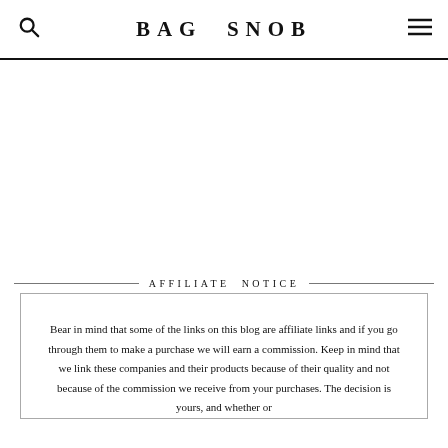BAG SNOB
AFFILIATE NOTICE
Bear in mind that some of the links on this blog are affiliate links and if you go through them to make a purchase we will earn a commission. Keep in mind that we link these companies and their products because of their quality and not because of the commission we receive from your purchases. The decision is yours, and whether or